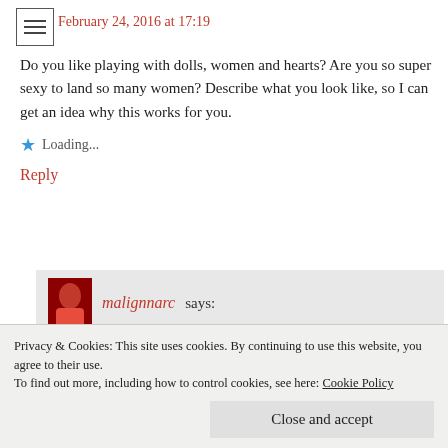February 24, 2016 at 17:19
Do you like playing with dolls, women and hearts? Are you so super sexy to land so many women? Describe what you look like, so I can get an idea why this works for you.
Loading...
Reply
malignnarc says:
February 24, 2016 at 17:57
I don’t play with dolls although I had an Action Man
Privacy & Cookies: This site uses cookies. By continuing to use this website, you agree to their use.
To find out more, including how to control cookies, see here: Cookie Policy
Close and accept